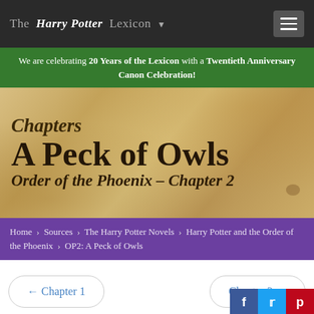The Harry Potter Lexicon
We are celebrating 20 Years of the Lexicon with a Twentieth Anniversary Canon Celebration!
[Figure (illustration): Parchment-textured hero banner with text: Chapters / A Peck of Owls / Order of the Phoenix - Chapter 2]
Home › Sources › The Harry Potter Novels › Harry Potter and the Order of the Phoenix › OP2: A Peck of Owls
← Chapter 1
Chapter 3 →
"You can't give a Dementor the